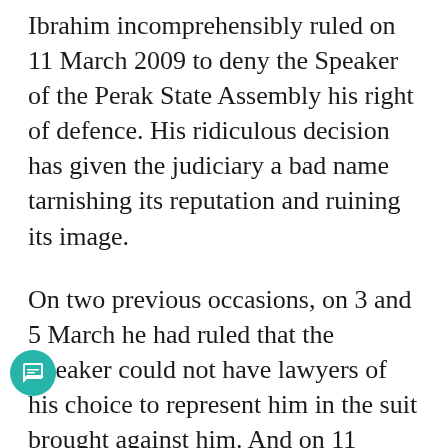Ibrahim incomprehensibly ruled on 11 March 2009 to deny the Speaker of the Perak State Assembly his right of defence. His ridiculous decision has given the judiciary a bad name tarnishing its reputation and ruining its image.
On two previous occasions, on 3 and 5 March he had ruled that the Speaker could not have lawyers of his choice to represent him in the suit brought against him. And on 11 March, he ruled that the Speaker could not even act for himself.
His bewildering decisions have shocked and stunned the legal fraternity and the man in the street. These decisions went against the grain of natural justice. They were neither supported by legal precedents nor justified by logical